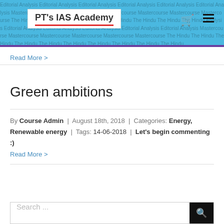PT's IAS Academy
Read More >
Green ambitions
By Course Admin | August 18th, 2018 | Categories: Energy, Renewable energy | Tags: 14-06-2018 | Let's begin commenting :)
Read More >